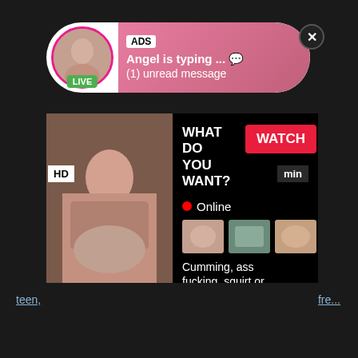[Figure (screenshot): Adult advertising popup notification showing avatar with LIVE badge, ADS tag, text 'Angel is typing ... (1) unread message' on pink gradient background with close button]
[Figure (screenshot): Adult video advertisement banner with thumbnail image, 'WHAT DO YOU WANT?' text, red WATCH button, Online status, thumbnail previews, and text 'Cumming, ass fucking, squirt or... • ADS']
teen,
fre...